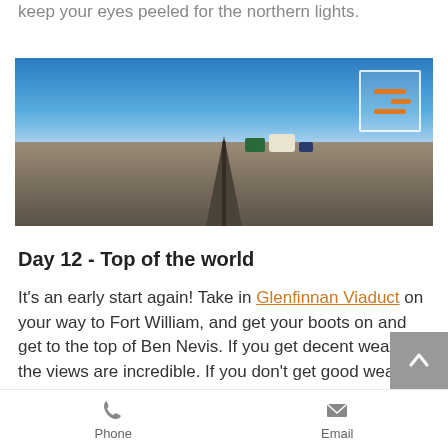keep your eyes peeled for the northern lights.
[Figure (photo): Panoramic photo of a flat sandy road stretching to the horizon, with campervans and vehicles parked in the distance under a clear blue sky. A menu/hamburger overlay icon appears in the top right corner.]
Day 12 - Top of the world
It's an early start again! Take in Glenfinnan Viaduct on your way to Fort William, and get your boots on and get to the top of Ben Nevis. If you get decent weather, the views are incredible. If you don't get good weather, then just head to
Phone   Email